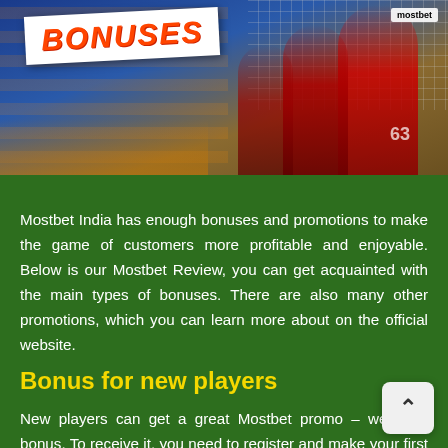[Figure (photo): Sports/football image showing players in red uniforms at a stadium, with a white sign showing the word BONUSES in large bold italic orange/red text. Crowd visible in background.]
Mostbet India has enough bonuses and promotions to make the game of customers more profitable and enjoyable. Below is our Mostbet Review, you can get acquainted with the main types of bonuses. There are also many other promotions, which you can learn more about on the official website.
Bonus for new players
New players can get a great Mostbet promo – welcome bonus. To receive it, you need to register and make your first deposit of no more than 2500 Indian rupees. Then you will receive a bonus in the form of 125% of the deposit